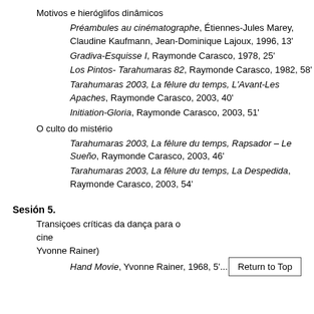Motivos e hieróglifos dinâmicos
Préambules au cinématographe, Étiennes-Jules Marey, Claudine Kaufmann, Jean-Dominique Lajoux, 1996, 13'
Gradiva-Esquisse I, Raymonde Carasco, 1978, 25'
Los Pintos- Tarahumaras 82, Raymonde Carasco, 1982, 58'
Tarahumaras 2003, La fêlure du temps, L'Avant-Les Apaches, Raymonde Carasco, 2003, 40'
Initiation-Gloria, Raymonde Carasco, 2003, 51'
O culto do mistério
Tarahumaras 2003, La fêlure du temps, Rapsador – Le Sueño, Raymonde Carasco, 2003, 46'
Tarahumaras 2003, La fêlure du temps, La Despedida, Raymonde Carasco, 2003, 54'
Sesión 5.
Transiçoes críticas da dança para o cine... Yvonne Rainer)
Hand Movie, Yvonne Rainer, 1968, 5'...